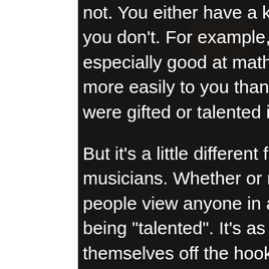[Figure (photo): Dark background with a person's hand writing on sheet music with a pen, partially visible. A coffee mug blurred in upper area. Right side shows close-up of hand on musical manuscript.]
not. You either have a knack for certain things, or you don't. For example, maybe you were especially good at math in school - it just came more easily to you than others. One might say you were gifted or talented in math.

But it's a little different for us artists and musicians. Whether or not we have talent, many people view anyone in a performative field as being "talented". It's as though they are letting themselves off the hook by saying, "He is so talented... I could never do something like that." While yes, some people do have a natural inclination toward certain things, like music or the arts, some don't, but love it anyway and choose to dedicate themselves to learning. Think about it - do you really believe that everyone who attends the Juilliard School just happens to be naturally talented? Believe it or not, the